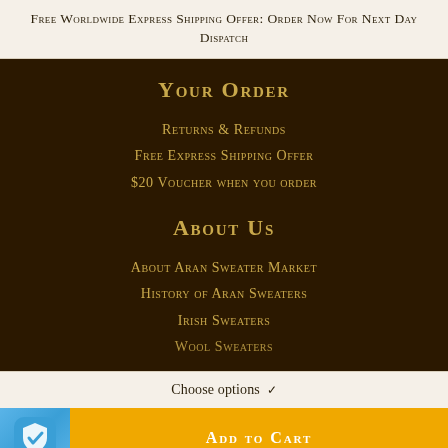Free Worldwide Express Shipping Offer: Order Now For Next Day Dispatch
YOUR ORDER
Returns & Refunds
Free Express Shipping Offer
$20 Voucher when you order
ABOUT US
About Aran Sweater Market
History of Aran Sweaters
Irish Sweaters
Wool Sweaters
Choose options
ADD TO CART